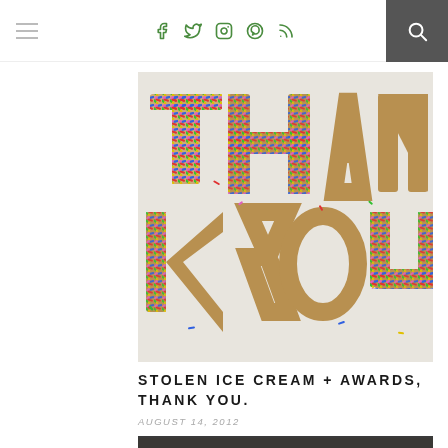Navigation bar with hamburger menu, social icons (Facebook, Twitter, Instagram, Pinterest, RSS), and search button
[Figure (photo): Photo of metallic letter cookie-cutter shapes spelling THANK YOU filled with colorful rainbow sprinkles on a light background]
STOLEN ICE CREAM + AWARDS, THANK YOU.
AUGUST 14, 2012
[Figure (photo): Partial photo showing a dark plate with blood orange slices, chocolate pieces, and other toppings — partially visible at bottom of page]